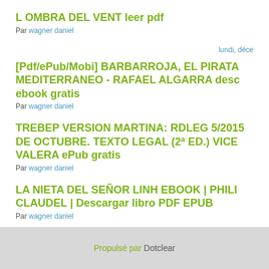L OMBRA DEL VENT leer pdf
Par wagner daniel
lundi, déce
[Pdf/ePub/Mobi] BARBARROJA, EL PIRATA MEDITERRANEO - RAFAEL ALGARRA desc ebook gratis
Par wagner daniel
TREBEP VERSION MARTINA: RDLEG 5/2015 DE OCTUBRE. TEXTO LEGAL (2ª ED.) VICE VALERA ePub gratis
Par wagner daniel
LA NIETA DEL SEÑOR LINH EBOOK | PHILI CLAUDEL | Descargar libro PDF EPUB
Par wagner daniel
Propulsé par Dotclear